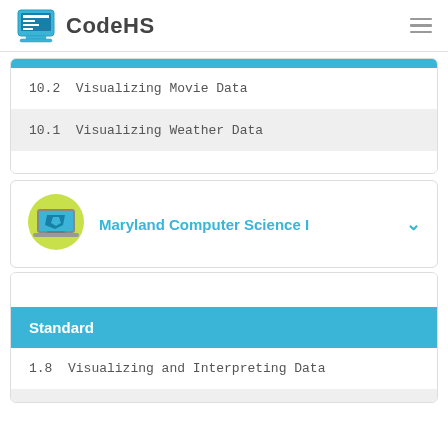CodeHS
10.2  Visualizing Movie Data
10.1  Visualizing Weather Data
[Figure (illustration): CodeHS laptop icon for Maryland Computer Science I course]
Maryland Computer Science I
Standard
1.8  Visualizing and Interpreting Data